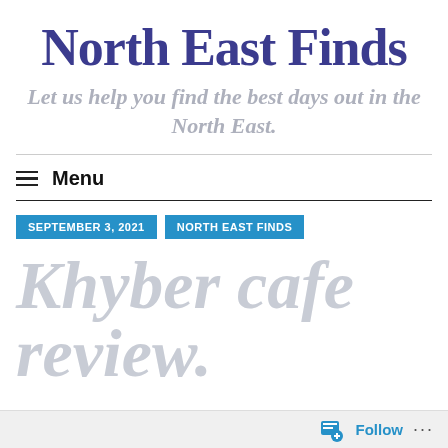North East Finds
Let us help you find the best days out in the North East.
Menu
SEPTEMBER 3, 2021
NORTH EAST FINDS
Khyber cafe review.
Follow